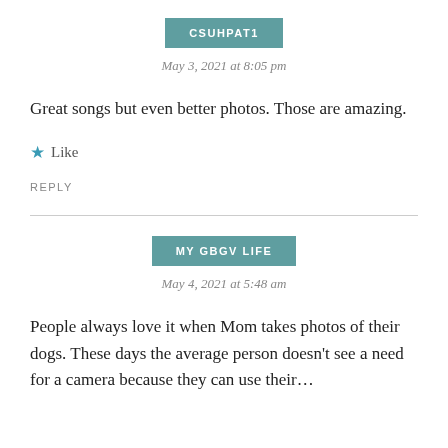CSUHPAT1
May 3, 2021 at 8:05 pm
Great songs but even better photos. Those are amazing.
★ Like
REPLY
MY GBGV LIFE
May 4, 2021 at 5:48 am
People always love it when Mom takes photos of their dogs. These days the average person doesn't see a need for a camera because they can use their…